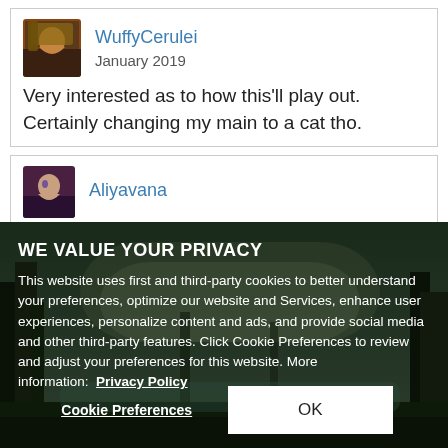WuffyCerulei
January 2019

Very interested as to how this'll play out. Certainly changing my main to a cat tho.
Aliyavana
WE VALUE YOUR PRIVACY
This website uses first and third-party cookies to better understand your preferences, optimize our website and Services, enhance user experiences, personalize content and ads, and provide social media and other third-party features. Click Cookie Preferences to review and adjust your preferences for this website. More information: Privacy Policy
Cookie Preferences  OK